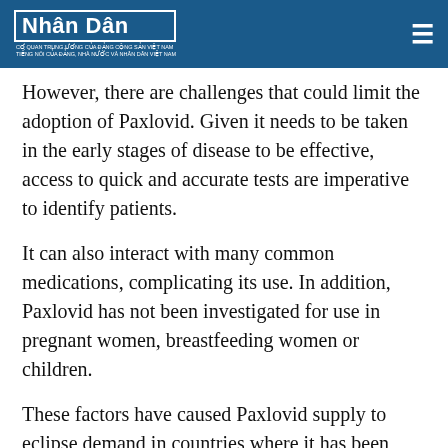Nhân Dân
However, there are challenges that could limit the adoption of Paxlovid. Given it needs to be taken in the early stages of disease to be effective, access to quick and accurate tests are imperative to identify patients.
It can also interact with many common medications, complicating its use. In addition, Paxlovid has not been investigated for use in pregnant women, breastfeeding women or children.
These factors have caused Paxlovid supply to eclipse demand in countries where it has been available for some time.
Pfizer has, and continues to, strike deals to sell the treatment in a number of countries, but details around pricing terms have been confidential.